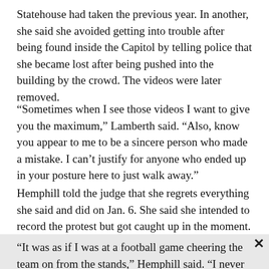Statehouse had taken the previous year. In another, she said she avoided getting into trouble after being found inside the Capitol by telling police that she became lost after being pushed into the building by the crowd. The videos were later removed.
“Sometimes when I see those videos I want to give you the maximum,” Lamberth said. “Also, know you appear to me to be a sincere person who made a mistake. I can’t justify for anyone who ended up in your posture here to just walk away.”
Hemphill told the judge that she regrets everything she said and did on Jan. 6. She said she intended to record the protest but got caught up in the moment.
“It was as if I was at a football game cheering the team on from the stands,” Hemphill said. “I never should have